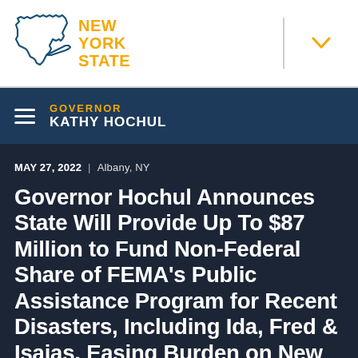[Figure (logo): New York State outline logo with 'NEW YORK STATE' text in gold/yellow]
GOVERNOR KATHY HOCHUL
MAY 27, 2022 | Albany, NY
Governor Hochul Announces State Will Provide Up To $87 Million to Fund Non-Federal Share of FEMA's Public Assistance Program for Recent Disasters, Including Ida, Fred & Isaias, Easing Burden on New